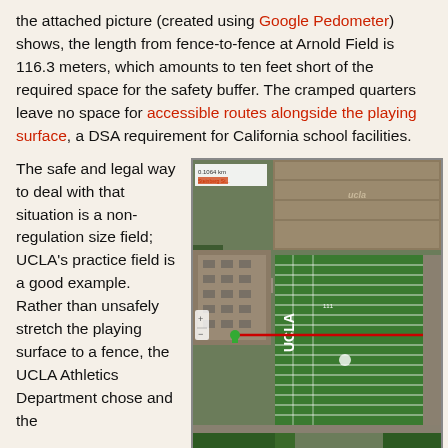the attached picture (created using Google Pedometer) shows, the length from fence-to-fence at Arnold Field is 116.3 meters, which amounts to ten feet short of the required space for the safety buffer.  The cramped quarters leave no space for accessible routes alongside the playing surface, a DSA requirement for California school facilities.
The safe and legal way to deal with that situation is a non-regulation size field; UCLA's practice field is a good example.  Rather than unsafely stretch the playing surface to a fence, the UCLA Athletics Department chose and the
[Figure (photo): Aerial satellite view of Spaulding Field at UCLA showing a football practice field with measurement line overlaid. A red horizontal line is drawn across the field with green and red pin markers at each end. The measurement reads 0.1064 km. The field shows yard lines and end zones visible from above.]
Spaulding Field
309 Westwood Plaza, Los Angeles, CA 90095
Image courtesy Google Pedometer